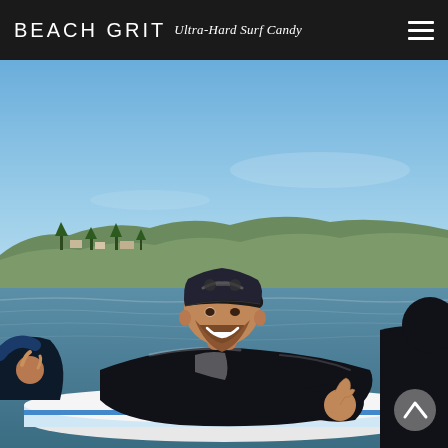BEACH GRIT Ultra-Hard Surf Candy
[Figure (photo): A bearded man wearing a black wetsuit and dark snapback cap lies on a surfboard in the ocean, smiling and giving a thumbs up. Coastal cliffs and hills are visible in the background under a clear blue sky. Two other surfers in wetsuits are partially visible on either side.]